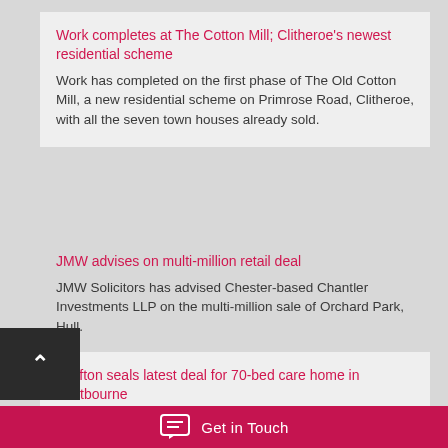Work completes at The Cotton Mill; Clitheroe's newest residential scheme
Work has completed on the first phase of The Old Cotton Mill, a new residential scheme on Primrose Road, Clitheroe, with all the seven town houses already sold.
JMW advises on multi-million retail deal
JMW Solicitors has advised Chester-based Chantler Investments LLP on the multi-million sale of Orchard Park, Hull.
Grafton seals latest deal for 70-bed care home in Eastbourne
Grafton Land & Property has sold a 1.5-acre site in Eastbourne to Barchester Healthcare, which will
Get in Touch